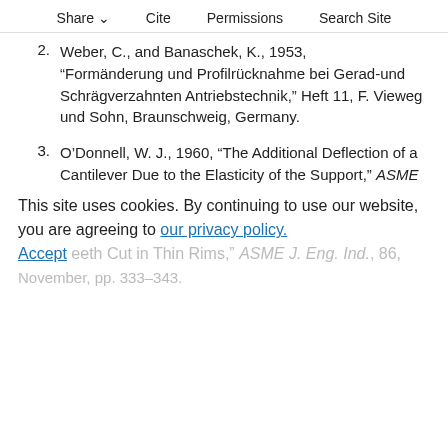Share  Cite  Permissions  Search Site
2. Weber, C., and Banaschek, K., 1953, “Forma¨nderung und Profilru¨cknahme bei Gerad-und Schra¨gverzahnten Antriebstechnik,” Heft 11, F. Vieweg und Sohn, Braunschweig, Germany.
3. O’Donnell, W. J., 1960, “The Additional Deflection of a Cantilever Due to the Elasticity of the Support,” ASME J. Appl. Mech., 27, September, pp. 461–464.
4. O’Donnell, W. J., 1963, “Stresses and Deflections in Built-In Beams.” ASME J. Eng. Ind., 85, August, pp. 265–273.
This site uses cookies. By continuing to use our website, you are agreeing to our privacy policy. Accept
eeth Cut in Thin Rims,” ASME J. Eng. Ind., 86, November, pp. 333–343.